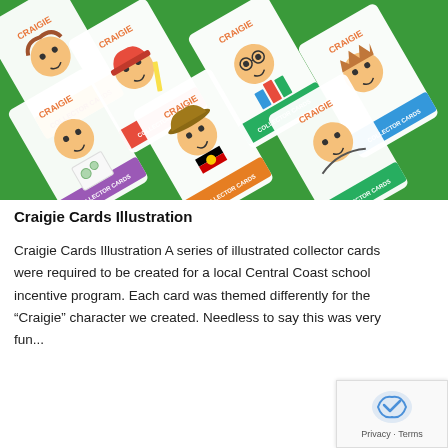[Figure (illustration): A collection of illustrated collector cards featuring the 'Craigie' cartoon character in various themed poses, arranged diagonally on a green background. Each card shows the character in a different activity (holding a pencil, wearing an Akubra hat with Aboriginal flag, reading books, skipping rope, etc.) with 'CRAIGIE' text and 'COLLECTOR CARDS' ribbon.]
Craigie Cards Illustration
Craigie Cards Illustration A series of illustrated collector cards were required to be created for a local Central Coast school incentive program. Each card was themed differently for the “Craigie” character we created. Needless to say this was very fun...